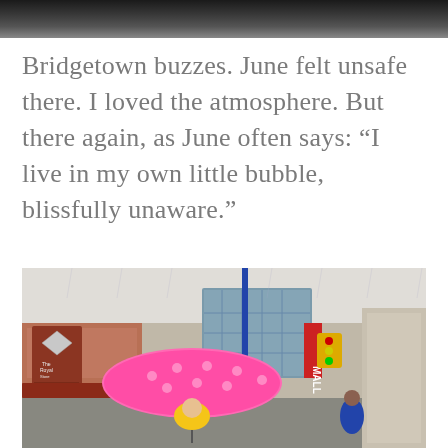[Figure (photo): Partial top edge of a photo, dark tones, cropped at top of page]
Bridgetown buzzes. June felt unsafe there. I loved the atmosphere. But there again, as June often says: “I live in my own little bubble, blissfully unaware.”
[Figure (photo): Street scene in Bridgetown, Barbados. Shops including a Duty Free store with a diamond logo sign on the left. A blue lamp post in the center. A glass-fronted mall building in the background. A woman in the foreground holding a bright pink polka-dot umbrella, wearing a yellow outfit. Other pedestrians visible. Rainy day, overcast sky.]